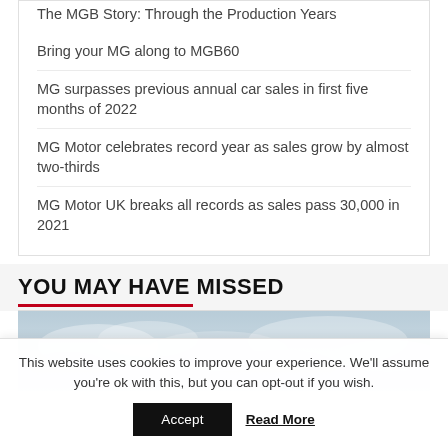The MGB Story: Through the Production Years
Bring your MG along to MGB60
MG surpasses previous annual car sales in first five months of 2022
MG Motor celebrates record year as sales grow by almost two-thirds
MG Motor UK breaks all records as sales pass 30,000 in 2021
YOU MAY HAVE MISSED
[Figure (photo): Sky with clouds, light blue-grey tones]
This website uses cookies to improve your experience. We'll assume you're ok with this, but you can opt-out if you wish.
Accept  Read More